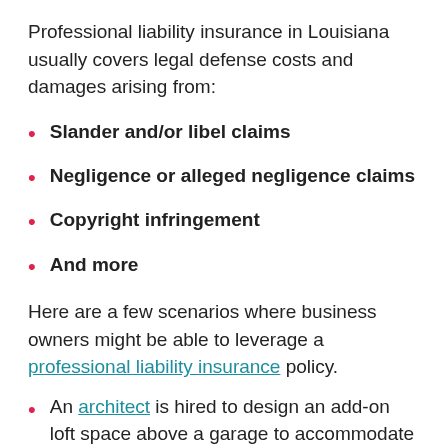Professional liability insurance in Louisiana usually covers legal defense costs and damages arising from:
Slander and/or libel claims
Negligence or alleged negligence claims
Copyright infringement
And more
Here are a few scenarios where business owners might be able to leverage a professional liability insurance policy.
An architect is hired to design an add-on loft space above a garage to accommodate guests. Their calculations are just slightly off, but no one realizes it until the space is built and deemed unstable.